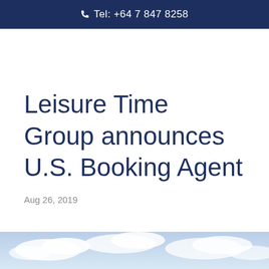Tel: +64 7 847 8258
Leisure Time Group announces U.S. Booking Agent
Aug 26, 2019
[Figure (photo): Sky with clouds, partial view at bottom of page]